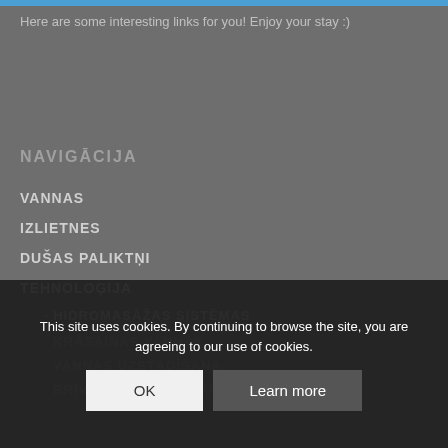Here are some interesting links for you! Enjoy your stay :)
NAVIGĀCIJA
VANNAS
IZLIETNES
DUŠAS PALIKTŅI
TEHNOLOĢIJA
HIDROMASĀŽAS SISTĒMAS
KRĀSAINAS VANNAS
VANNAS UZSTĀDĪŠANA
BRĪVSTĀVOŠO VANNU AIRBATH
This site uses cookies. By continuing to browse the site, you are agreeing to our use of cookies.